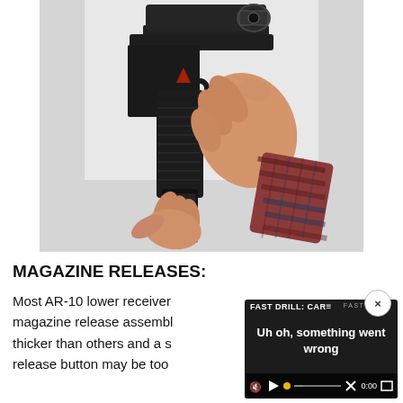[Figure (photo): Two hands performing a magazine release on a black pistol with a red dot sight mounted on top. One hand grips the pistol grip while the other hand pulls the magazine. The person is wearing a red and black flannel shirt. Background is light gray/white.]
MAGAZINE RELEASES:
Most AR-10 lower receivers use a magazine release assembly... thicker than others and a s... release button may be too...
[Figure (screenshot): Video player overlay showing 'FAST DRILL: CAR=' title and error message 'Uh oh, something went wrong'. Controls show play button, progress bar with X, timestamp 0:00, and fullscreen icon. Dark background with semi-transparent control bar.]